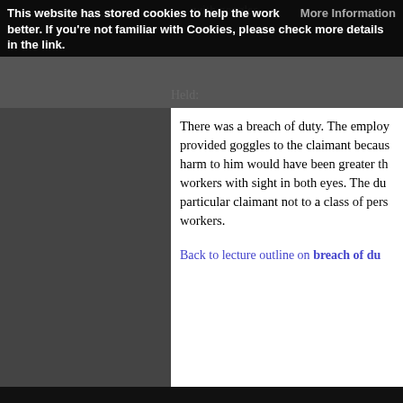This website has stored cookies to help the work better. If you're not familiar with Cookies, please check more details in the link. More Information
with goggles.
Held:
There was a breach of duty. The employer provided goggles to the claimant because harm to him would have been greater than workers with sight in both eyes. The duty was to the particular claimant not to a class of persons or workers.
Back to lecture outline on breach of duty